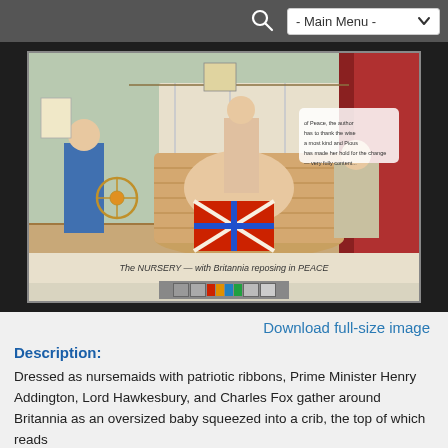- Main Menu -
[Figure (illustration): A colored satirical print titled 'The NURSERY — with Britannia reposing in PEACE'. Dressed as nursemaids, Prime Minister Henry Addington, Lord Hawkesbury, and Charles Fox gather around Britannia as an oversized baby squeezed into a large wicker crib. A color calibration strip and ruler are visible at the bottom of the image frame.]
Download full-size image
Description:
Dressed as nursemaids with patriotic ribbons, Prime Minister Henry Addington, Lord Hawkesbury, and Charles Fox gather around Britannia as an oversized baby squeezed into a crib, the top of which reads